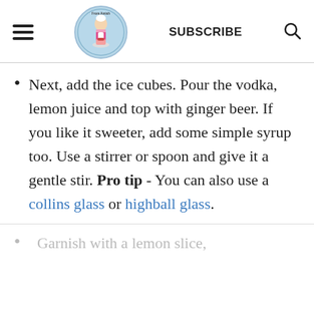From Amish — SUBSCRIBE
Next, add the ice cubes. Pour the vodka, lemon juice and top with ginger beer. If you like it sweeter, add some simple syrup too. Use a stirrer or spoon and give it a gentle stir. Pro tip - You can also use a collins glass or highball glass.
Garnish with a lemon slice,